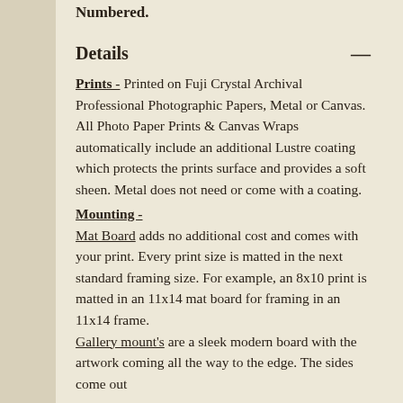Numbered.
Details
Prints - Printed on Fuji Crystal Archival Professional Photographic Papers, Metal or Canvas. All Photo Paper Prints & Canvas Wraps automatically include an additional Lustre coating which protects the prints surface and provides a soft sheen. Metal does not need or come with a coating.
Mounting -
Mat Board adds no additional cost and comes with your print. Every print size is matted in the next standard framing size. For example, an 8x10 print is matted in an 11x14 mat board for framing in an 11x14 frame.
Gallery mount's are a sleek modern board with the artwork coming all the way to the edge. The sides come out